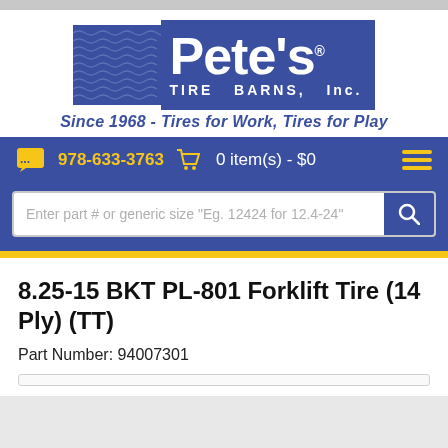[Figure (logo): Pete's Tire Barns, Inc. logo with blue background, wave pattern, and tagline 'Since 1968 - Tires for Work, Tires for Play']
978-633-3763  0 item(s) - $0
8.25-15 BKT PL-801 Forklift Tire (14 Ply) (TT)
Part Number: 94007301